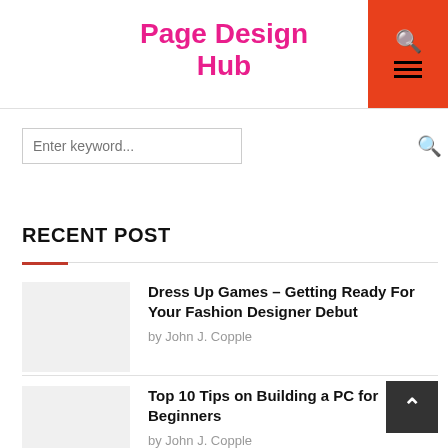Page Design Hub
Enter keyword...
RECENT POST
Dress Up Games – Getting Ready For Your Fashion Designer Debut by John J. Copple
Top 10 Tips on Building a PC for Beginners by John J. Copple